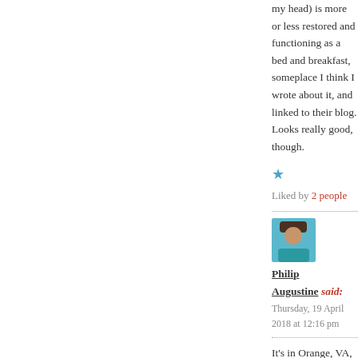my head) is more or less restored and functioning as a bed and breakfast, someplace I think I wrote about it, and linked to their blog. Looks really good, though.
★ Liked by 2 people
Philip Augustine said: Thursday, 19 April 2018 at 12:16 pm
It's in Orange, VA, if I remember right, When we were touring the area c